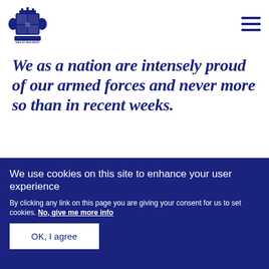[Figure (logo): UK Royal coat of arms logo in navy blue]
We as a nation are intensely proud of our armed forces and never more so than in recent weeks.
We use cookies on this site to enhance your user experience
By clicking any link on this page you are giving your consent for us to set cookies. No, give me more info
OK, I agree